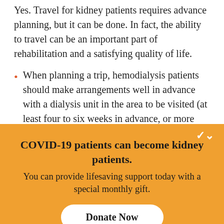Yes. Travel for kidney patients requires advance planning, but it can be done. In fact, the ability to travel can be an important part of rehabilitation and a satisfying quality of life.
When planning a trip, hemodialysis patients should make arrangements well in advance with a dialysis unit in the area to be visited (at least four to six weeks in advance, or more during popular touring seasons). Dialysis units are full and may not be able to accommodate unscheduled patients. Friends or
COVID-19 patients can become kidney patients. You can provide lifesaving support today with a special monthly gift.
Donate Now